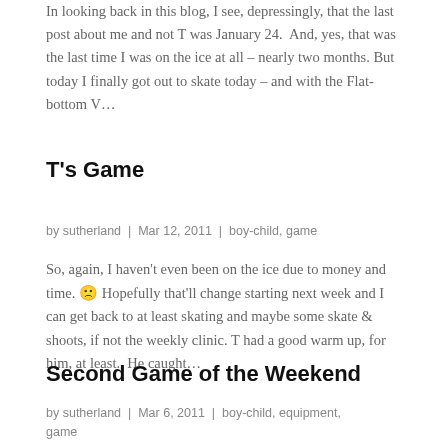In looking back in this blog, I see, depressingly, that the last post about me and not T was January 24. And, yes, that was the last time I was on the ice at all – nearly two months. But today I finally got out to skate today – and with the Flat-bottom V…
T's Game
by sutherland | Mar 12, 2011 | boy-child, game
So, again, I haven't even been on the ice due to money and time. 🙁 Hopefully that'll change starting next week and I can get back to at least skating and maybe some skate & shoots, if not the weekly clinic. T had a good warm up, for him, at least. He caught…
Second Game of the Weekend
by sutherland | Mar 6, 2011 | boy-child, equipment, game